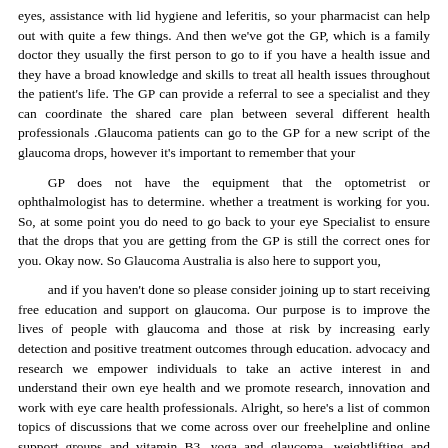eyes, assistance with lid hygiene and leferitis, so your pharmacist can help out with quite a few things. And then we've got the GP, which is a family doctor they usually the first person to go to if you have a health issue and they have a broad knowledge and skills to treat all health issues throughout the patient's life. The GP can provide a referral to see a specialist and they can coordinate the shared care plan between several different health professionals .Glaucoma patients can go to the GP for a new script of the glaucoma drops, however it's important to remember that your
GP does not have the equipment that the optometrist or ophthalmologist has to determine. whether a treatment is working for you. So, at some point you do need to go back to your eye Specialist to ensure that the drops that you are getting from the GP is still the correct ones for you. Okay now. So Glaucoma Australia is also here to support you,
and if you haven't done so please consider joining up to start receiving free education and support on glaucoma. Our purpose is to improve the lives of people with glaucoma and those at risk by increasing early detection and positive treatment outcomes through education. advocacy and research we empower individuals to take an active interest in and understand their own eye health and we promote research, innovation and work with eye care health professionals. Alright, so here's a list of common topics of discussions that we come across over our freehelpline and online support groups and vitamin B3, yoga and glaucoma, weightlifting and swimming, impact of caffeine on eye pressure, deciding about laser or surgery If eyedrops have stopped working for you, if you have side effects of eyedrops. recovery after surgery, so what to expect before and after and then COVID vaccinations and glaucoma. Alright, so we'll just go through a couple of diet tips, that can be beneficial for glaucoma because optic nerve health depends on Healthy blood blood vessels, as well food that helps to maintain blood